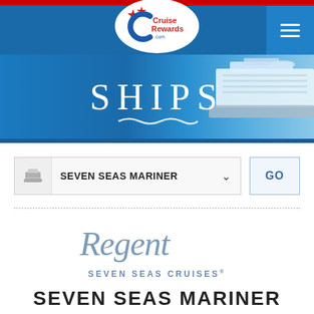[Figure (logo): CruiseRewards.com logo in white oval on blue navigation bar with hamburger menu icon on right]
[Figure (photo): Hero banner with SHIPS text over ocean background with cruise ship on right side]
[Figure (infographic): Ship selector dropdown showing SEVEN SEAS MARINER with GO button]
[Figure (logo): Regent Seven Seas Cruises logo in slate blue italic script with SEVEN SEAS CRUISES subtitle]
SEVEN SEAS MARINER
< Back To All Cruise Ships